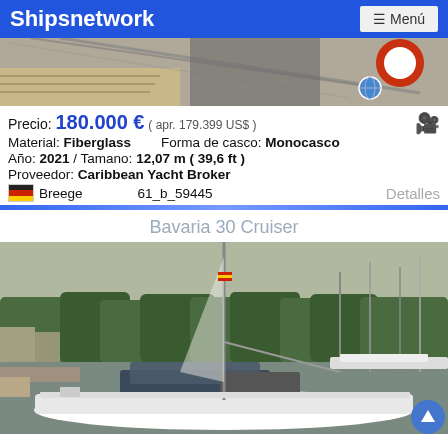Shipsnetwork   ☰ Menú
[Figure (photo): Top partial view of a sailboat deck with ropes and an orange life buoy, partial marina background]
Precio: 180.000 € ( apr. 179.399 US$ )
Material: Fiberglass    Forma de casco: Monocasco
Año: 2021 / Tamano: 12,07 m ( 39,6 ft )
Proveedor: Caribbean Yacht Broker
🇩🇪 Breege    61_b_59445    Detalles
Bavaria 30 Cruiser
[Figure (photo): Bavaria 30 Cruiser sailboat docked at a marina with trees and other boats in the background]